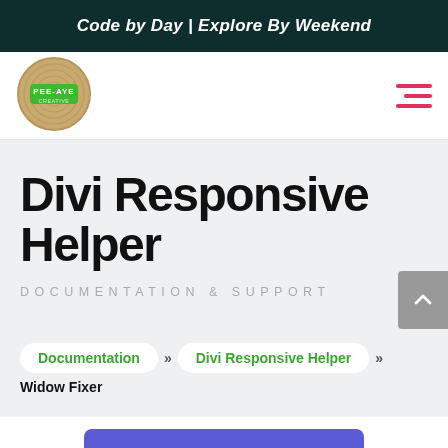Code by Day | Explore By Weekend
[Figure (logo): Pee-Aye Creative circular wood-grain logo with green badge]
Divi Responsive Helper
DOCUMENTATION & SUPPORT
Documentation » Divi Responsive Helper » Widow Fixer